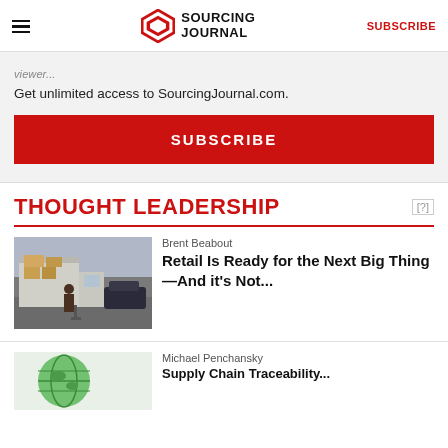Sourcing Journal — SUBSCRIBE
Get unlimited access to SourcingJournal.com.
SUBSCRIBE
THOUGHT LEADERSHIP
Brent Beabout
Retail Is Ready for the Next Big Thing—And it's Not...
[Figure (photo): Worker with boxes on dolly next to delivery truck on busy street]
Michael Penchansky
[Figure (photo): Green globe/earth illustration, partial view]